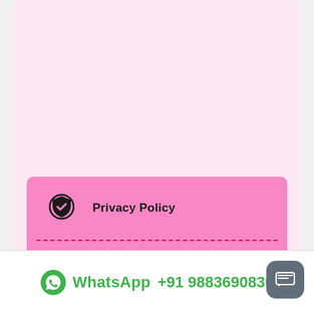Privacy Policy
Delivery & Return Policy
Secure Payment
WhatsApp  +91 9883690830